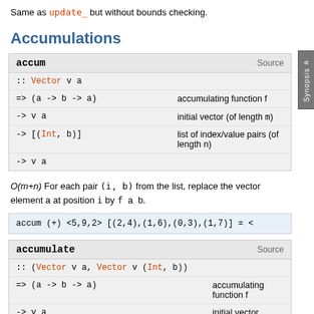Same as update_ but without bounds checking.
Accumulations
accum
:: Vector v a
=> (a -> b -> a)  accumulating function f
-> v a  initial vector (of length m)
-> [(Int, b)]  list of index/value pairs (of length n)
-> v a
O(m+n) For each pair (i, b) from the list, replace the vector element a at position i by f a b.
accum (+) <5,9,2> [(2,4),(1,6),(0,3),(1,7)] = <
accumulate
:: (Vector v a, Vector v (Int, b))
=> (a -> b -> a)  accumulating function f
-> v a  initial vector